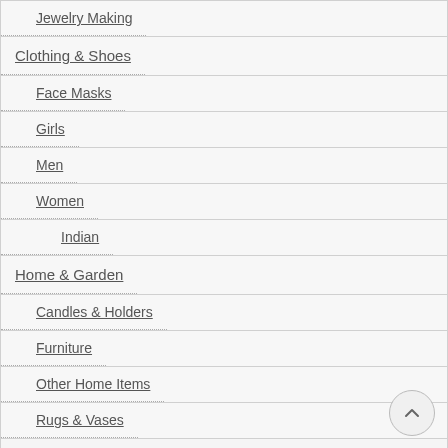Jewelry Making
Clothing & Shoes
Face Masks
Girls
Men
Women
Indian
Home & Garden
Candles & Holders
Furniture
Other Home Items
Rugs & Vases